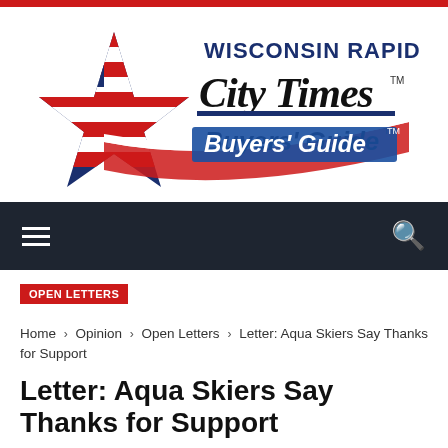[Figure (logo): Wisconsin Rapids City Times Buyers' Guide logo with American flag star graphic on the left and stylized newspaper masthead text on the right]
Navigation bar with hamburger menu and search icon
OPEN LETTERS
Home › Opinion › Open Letters › Letter: Aqua Skiers Say Thanks for Support
Letter: Aqua Skiers Say Thanks for Support
NOVEMBER 16, 2015 / 0